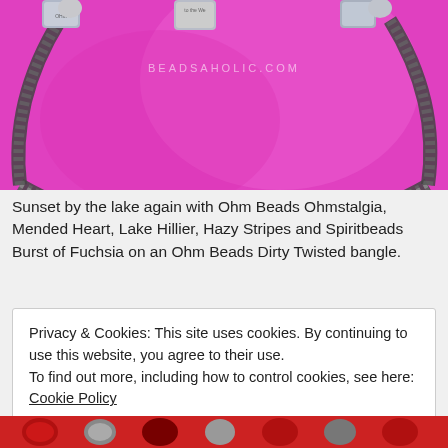[Figure (photo): A bracelet bangle with decorative beads on a hot pink/fuchsia background. The bangle appears to be an Ohm Beads Dirty Twisted bangle with various beads including Ohmstalgia, Mended Heart, Lake Hillier, Hazy Stripes and Spiritbeads Burst of Fuchsia. A watermark reads BEADSAHOLIC.COM.]
Sunset by the lake again with Ohm Beads Ohmstalgia, Mended Heart, Lake Hillier, Hazy Stripes and Spiritbeads Burst of Fuchsia on an Ohm Beads Dirty Twisted bangle.
Privacy & Cookies: This site uses cookies. By continuing to use this website, you agree to their use.
To find out more, including how to control cookies, see here: Cookie Policy
[Figure (photo): Partial view of another jewelry/bead arrangement at the bottom of the page.]